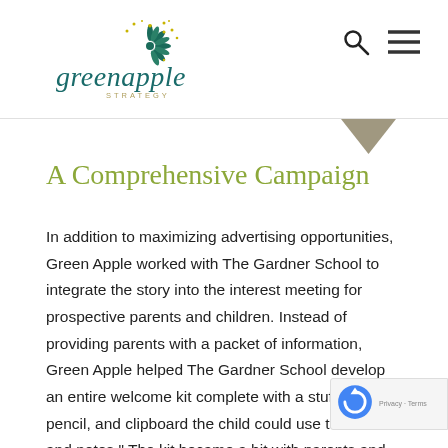Green Apple Strategy — navigation header with logo, search icon, and menu icon
A Comprehensive Campaign
In addition to maximizing advertising opportunities, Green Apple worked with The Gardner School to integrate the story into the interest meeting for prospective parents and children. Instead of providing parents with a packet of information, Green Apple helped The Gardner School develop an entire welcome kit complete with a stuffed bear, pencil, and clipboard the child could use to draw and notes." The kit became a hit with parents and kids, pr another way for The Gardner School to differentiate itself